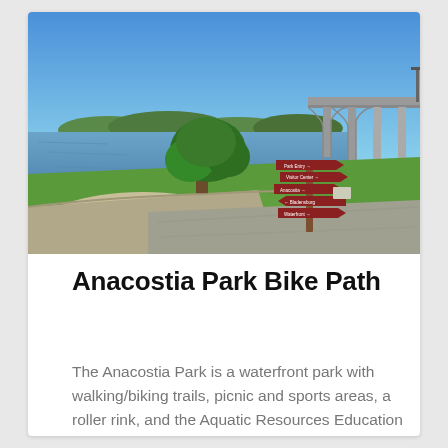[Figure (photo): Anacostia Park waterfront scene showing a paved bike path curving along the Anacostia River, green grass, a large tree, a brown directional sign post with multiple arrow signs, and a bridge in the background under a blue sky.]
Anacostia Park Bike Path
The Anacostia Park is a waterfront park with walking/biking trails, picnic and sports areas, a roller rink, and the Aquatic Resources Education